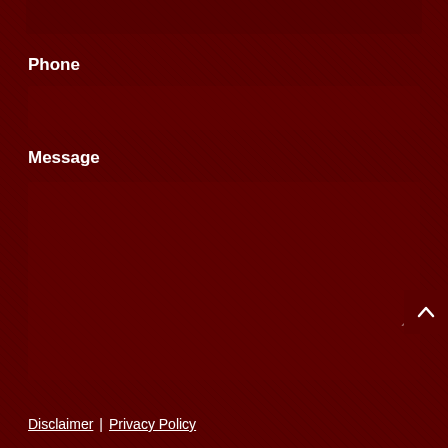Phone
Message
Disclaimer | Privacy Policy